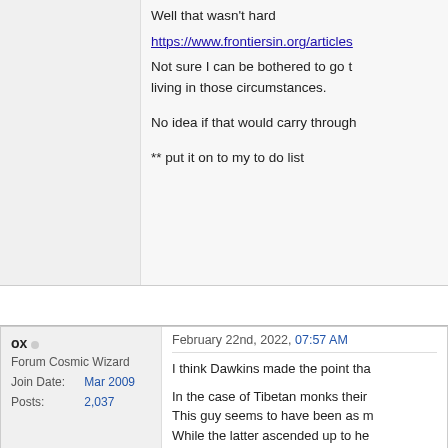Well that wasn't hard
https://www.frontiersin.org/articles
Not sure I can be bothered to go t... living in those circumstances.
No idea if that would carry through
** put it on to my to do list
ox
Forum Cosmic Wizard
Join Date: Mar 2009
Posts: 2,037
February 22nd, 2022, 07:57 AM
I think Dawkins made the point tha
In the case of Tibetan monks their
This guy seems to have been as m
While the latter ascended up to he
He could also control the weather
Religion is the prime mover of the